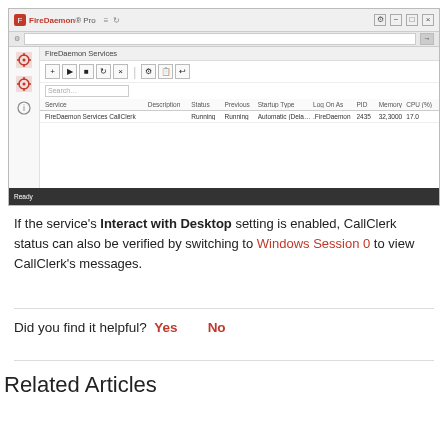[Figure (screenshot): FireDaemon Pro application window showing the FireDaemon Services panel with one service entry: FireDaemon Services CallClerk, Running status, Automatic (Dела...) startup type, .FireDaemon log on, PID 2435, Memory 32,3000, CPU 17.0]
If the service's Interact with Desktop setting is enabled, CallClerk status can also be verified by switching to Windows Session 0 to view CallClerk's messages.
Did you find it helpful?  Yes    No
Related Articles